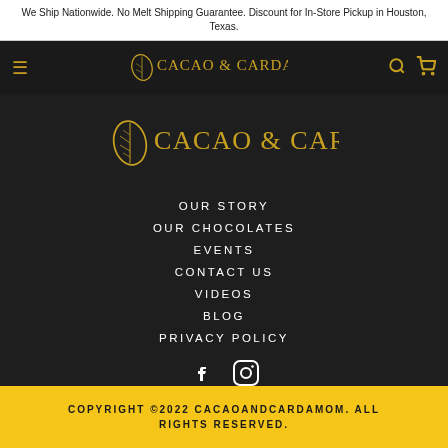We Ship Nationwide. No Melt Shipping Guarantee. Discount for In-Store Pickup in Houston, Texas.
[Figure (logo): Cacao & Cardamom logo in navigation bar - golden text with leaf icon on dark background]
[Figure (logo): Cacao & Cardamom center logo - golden text with leaf icon on dark background]
OUR STORY
OUR CHOCOLATES
EVENTS
CONTACT US
VIDEOS
BLOG
PRIVACY POLICY
[Figure (illustration): Facebook and Instagram social media icons in white on dark background]
COPYRIGHT ©2022 CACAOANDCARDAMOM. ALL RIGHTS RESERVED.